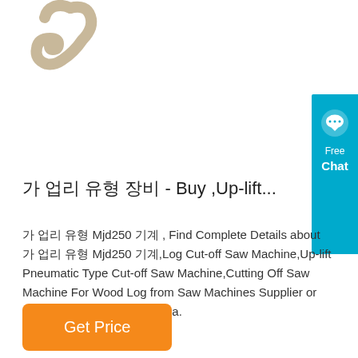[Figure (photo): Product image area showing a hook/blade component (saw machine part) in beige/cream color on white background, partially cropped at top]
[Figure (other): Blue chat widget on right side with speech bubble icon, text 'Free Chat']
가 업리 유형 장비 - Buy ,Up-lift...
가 업리 유형 Mjd250 기계 , Find Complete Details about 가 업리 유형 Mjd250 기계,Log Cut-off Saw Machine,Up-lift Pneumatic Type Cut-off Saw Machine,Cutting Off Saw Machine For Wood Log from Saw Machines Supplier or Manufacturer- Changting Yua.
Get Price